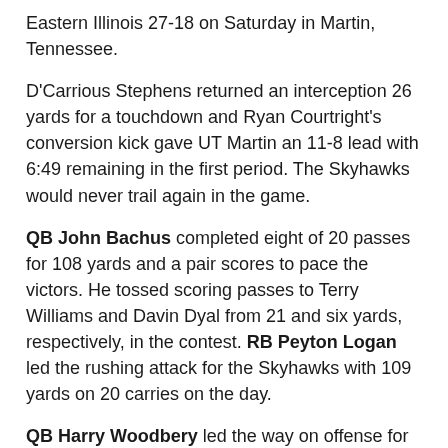Eastern Illinois 27-18 on Saturday in Martin, Tennessee.
D'Carrious Stephens returned an interception 26 yards for a touchdown and Ryan Courtright's conversion kick gave UT Martin an 11-8 lead with 6:49 remaining in the first period. The Skyhawks would never trail again in the game.
QB John Bachus completed eight of 20 passes for 108 yards and a pair scores to pace the victors. He tossed scoring passes to Terry Williams and Davin Dyal from 21 and six yards, respectively, in the contest. RB Peyton Logan led the rushing attack for the Skyhawks with 109 yards on 20 carries on the day.
QB Harry Woodbery led the way on offense for the Panthers. He completed 26 of 50 passes for 287 yards and one touchdown. He connected with teammate Isaiah Hill 15 times on the day for 157 yards and one touchdown strike.